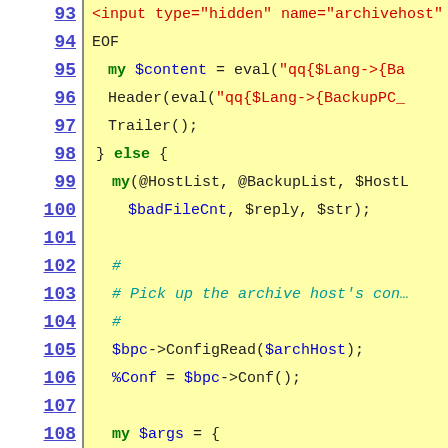[Figure (screenshot): Source code viewer showing Perl code with line numbers 93-115. Line numbers are on the left with a yellow highlighted code area on the right.]